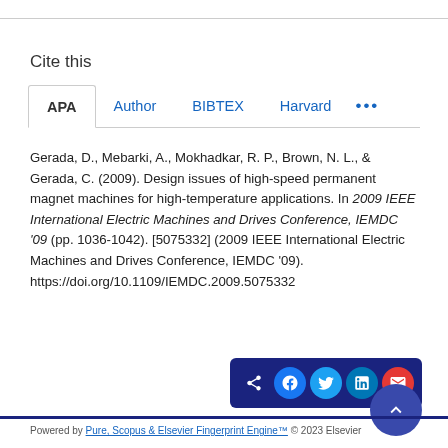Cite this
APA  Author  BIBTEX  Harvard  ...
Gerada, D., Mebarki, A., Mokhadkar, R. P., Brown, N. L., & Gerada, C. (2009). Design issues of high-speed permanent magnet machines for high-temperature applications. In 2009 IEEE International Electric Machines and Drives Conference, IEMDC '09 (pp. 1036-1042). [5075332] (2009 IEEE International Electric Machines and Drives Conference, IEMDC '09). https://doi.org/10.1109/IEMDC.2009.5075332
Powered by Pure, Scopus & Elsevier Fingerprint Engine™ © 2023 Elsevier